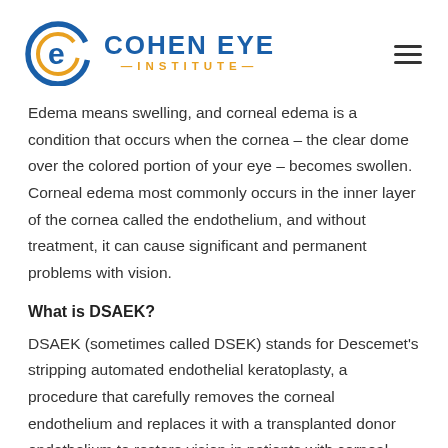[Figure (logo): Cohen Eye Institute logo with circular 'e' icon in blue and gold, and hamburger menu icon on the right]
Edema means swelling, and corneal edema is a condition that occurs when the cornea – the clear dome over the colored portion of your eye – becomes swollen. Corneal edema most commonly occurs in the inner layer of the cornea called the endothelium, and without treatment, it can cause significant and permanent problems with vision.
What is DSAEK?
DSAEK (sometimes called DSEK) stands for Descemet's stripping automated endothelial keratoplasty, a procedure that carefully removes the corneal endothelium and replaces it with a transplanted donor endothelium to restore vision in patients with corneal edema and endothelial dysfunction.